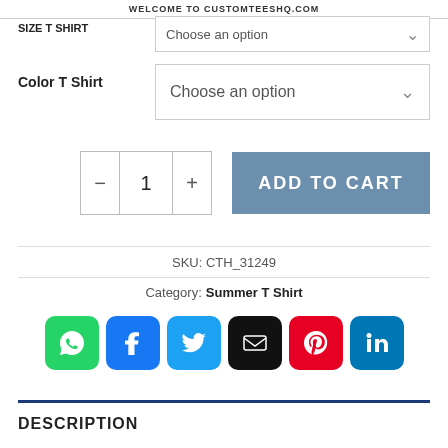WELCOME TO CUSTOMTEESHQ.COM
SIZE T SHIRT  |  Choose an option
Color T Shirt  |  Choose an option
- 1 + ADD TO CART
SKU: CTH_31249
Category: Summer T Shirt
[Figure (other): Row of 6 social sharing icons: WhatsApp (green), Facebook (blue), Twitter (blue), Email (black), Pinterest (red), LinkedIn (blue)]
DESCRIPTION